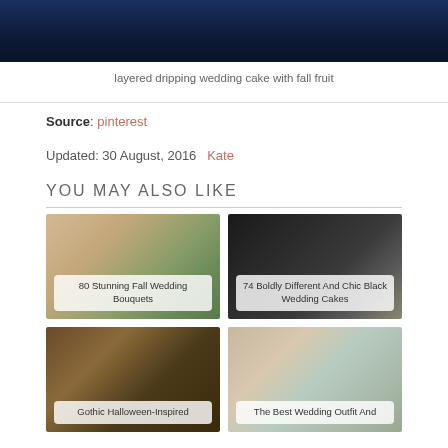[Figure (photo): Dark blue night sky photo at top of page]
layered dripping wedding cake with fall fruit
Source: pinterest
Updated: 30 August, 2016  Kate
YOU MAY ALSO LIKE
[Figure (photo): 80 Stunning Fall Wedding Bouquets - floral arrangement with fall flowers]
[Figure (photo): 74 Boldly Different And Chic Black Wedding Cakes - tall black cake]
[Figure (photo): Gothic Halloween-Inspired - dark autumn themed image]
[Figure (photo): The Best Wedding Outfit And - light outdoor wedding image]